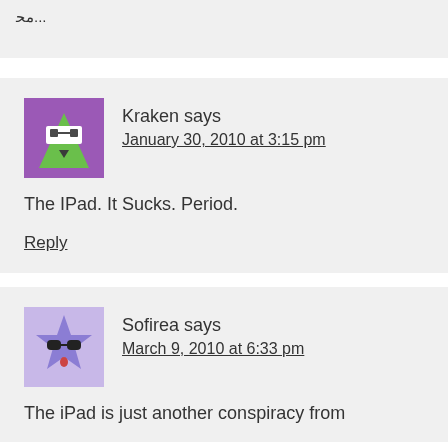(partial top comment — truncated)
Kraken says
January 30, 2010 at 3:15 pm
The IPad. It Sucks. Period.
Reply
Sofirea says
March 9, 2010 at 6:33 pm
The iPad is just another conspiracy from